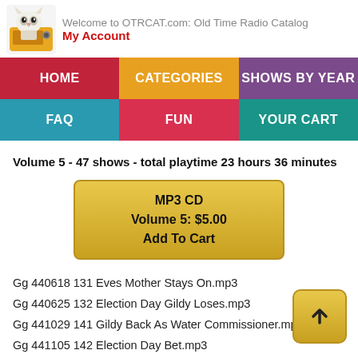Welcome to OTRCAT.com: Old Time Radio Catalog
My Account
HOME | CATEGORIES | SHOWS BY YEAR | FAQ | FUN | YOUR CART
Volume 5 - 47 shows - total playtime 23 hours 36 minutes
MP3 CD
Volume 5: $5.00
Add To Cart
Gg 440618 131 Eves Mother Stays On.mp3
Gg 440625 132 Election Day Gildy Loses.mp3
Gg 441029 141 Gildy Back As Water Commissioner.mp3
Gg 441105 142 Election Day Bet.mp3
Gg 441119 144 Reception For Miss Del Rey.mp3
Gg 441126 145 Reception Aftermath.mp3